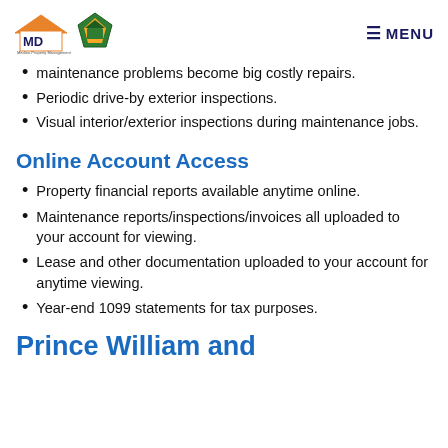MD [logo] [green logo] MENU
maintenance problems become big costly repairs.
Periodic drive-by exterior inspections.
Visual interior/exterior inspections during maintenance jobs.
Online Account Access
Property financial reports available anytime online.
Maintenance reports/inspections/invoices all uploaded to your account for viewing.
Lease and other documentation uploaded to your account for anytime viewing.
Year-end 1099 statements for tax purposes.
Prince William and